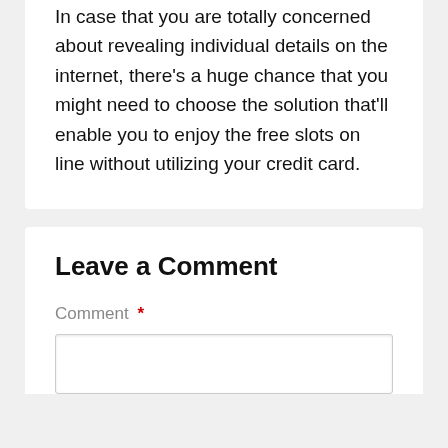In case that you are totally concerned about revealing individual details on the internet, there's a huge chance that you might need to choose the solution that'll enable you to enjoy the free slots on line without utilizing your credit card.
Leave a Comment
Comment *